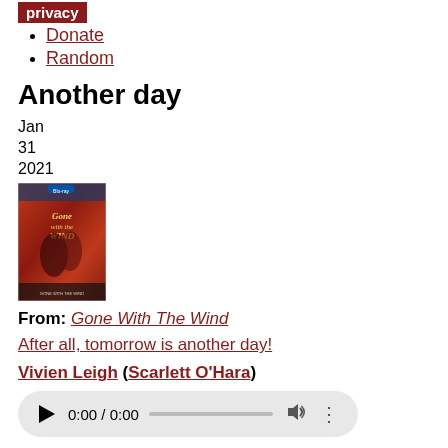Donate
Random
Another day
Jan
31
2021
[Figure (photo): DVD/Blu-ray cover of Gone With The Wind showing two people embracing against a red background]
From: Gone With The Wind
After all, tomorrow is another day!
Vivien Leigh (Scarlett O'Hara)
[Figure (other): Audio player widget showing 0:00 / 0:00 time, progress bar, volume and more icons]
#AFI Top 100 Quotes
#Hero